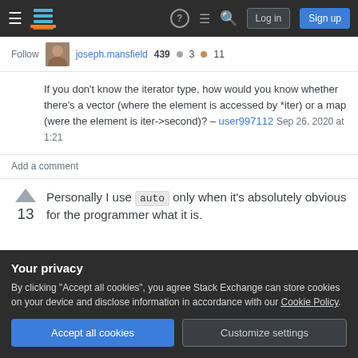Stack Exchange navigation bar with Log in and Sign up buttons
Follow  joseph.mansfield  439 • 3 • 11
If you don't know the iterator type, how would you know whether there's a vector (where the element is accessed by *iter) or a map (were the element is iter->second)? – user997112 Sep 26, 2020 at 1:21
Add a comment
Personally I use auto only when it's absolutely obvious for the programmer what it is.
13
Your privacy
By clicking "Accept all cookies", you agree Stack Exchange can store cookies on your device and disclose information in accordance with our Cookie Policy.
Accept all cookies   Customize settings
Example 2